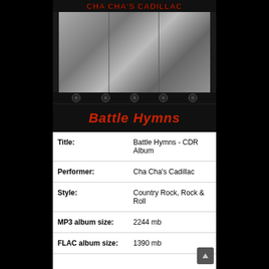[Figure (photo): Album cover for 'Battle Hymns' by Cha Cha's Cadillac. Black background with red text 'CHA CHA'S CADILLAC' at top, a black-and-white photo collage of band members in the middle, bullet hole decorations, and 'Battle Hymns' in red italic text at the bottom.]
| Title: | Battle Hymns - CDR Album |
| Performer: | Cha Cha's Cadillac |
| Style: | Country Rock, Rock & Roll |
| MP3 album size: | 2244 mb |
| FLAC album size: | 1390 mb |